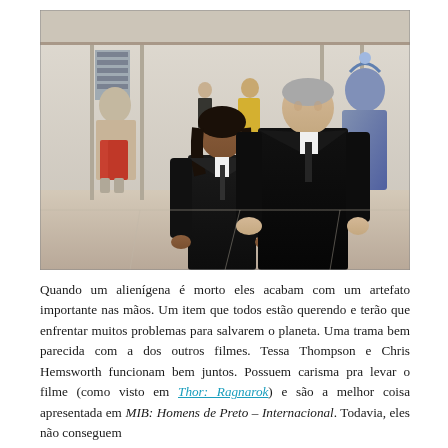[Figure (photo): Two actors in black suits standing in what appears to be a train station or large hall with alien figures visible in the background. The woman is shorter with curly dark hair looking up, the man is taller with grey hair leaning down toward her.]
Quando um alienígena é morto eles acabam com um artefato importante nas mãos. Um item que todos estão querendo e terão que enfrentar muitos problemas para salvarem o planeta. Uma trama bem parecida com a dos outros filmes. Tessa Thompson e Chris Hemsworth funcionam bem juntos. Possuem carisma pra levar o filme (como visto em Thor: Ragnarok) e são a melhor coisa apresentada em MIB: Homens de Preto – Internacional. Todavia, eles não conseguem